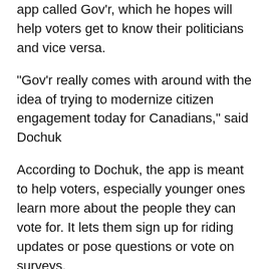app called Gov'r, which he hopes will help voters get to know their politicians and vice versa.
“Gov’r really comes with around with the idea of trying to modernize citizen engagement today for Canadians,” said Dochuk
According to Dochuk, the app is meant to help voters, especially younger ones learn more about the people they can vote for. It lets them sign up for riding updates or pose questions or vote on surveys.
“What happens for most people is you paper flyers in their mailbox, you have occasional robocalls, you sometimes have the option to go down to a local legion town hall and sit there for a few hours and hope that you get a chance to ask your question,” said Dochuk. “But for a lot of people, a lot of busy people, a lot of young people who have 1 to 3 jobs,